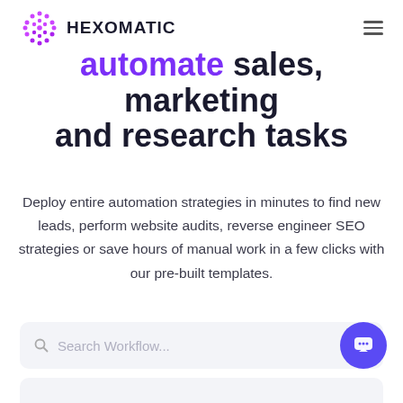[Figure (logo): Hexomatic logo with purple dotted hexagon icon and bold text HEXOMATIC]
automate sales, marketing and research tasks
Deploy entire automation strategies in minutes to find new leads, perform website audits, reverse engineer SEO strategies or save hours of manual work in a few clicks with our pre-built templates.
[Figure (screenshot): Search Workflow... input box with magnifying glass icon on light gray background]
[Figure (other): Purple circular chat/support button in bottom right corner]
[Figure (other): Partial bottom card/panel visible at bottom of page]